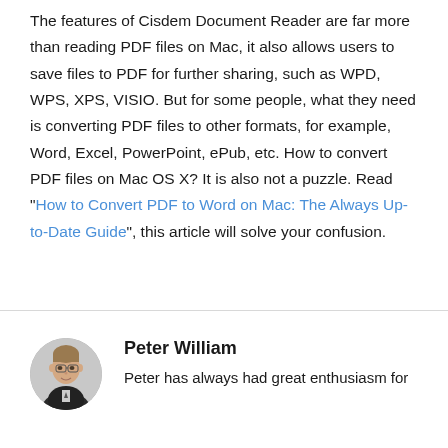The features of Cisdem Document Reader are far more than reading PDF files on Mac, it also allows users to save files to PDF for further sharing, such as WPD, WPS, XPS, VISIO. But for some people, what they need is converting PDF files to other formats, for example, Word, Excel, PowerPoint, ePub, etc. How to convert PDF files on Mac OS X? It is also not a puzzle. Read "How to Convert PDF to Word on Mac: The Always Up-to-Date Guide", this article will solve your confusion.
[Figure (photo): Circular portrait photo of Peter William, a man in a suit]
Peter William
Peter has always had great enthusiasm for